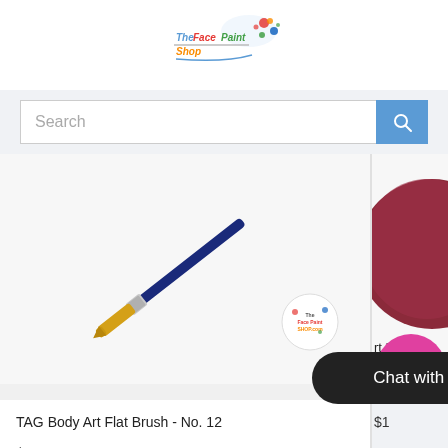[Figure (logo): The Face Paint Shop logo with colorful text and paint splash graphic]
Search
[Figure (photo): A TAG Body Art Flat Brush No. 12 with golden bristles and dark blue handle, on white background, with The Face Paint Shop watermark]
TAG Body Art Flat Brush - No. 12
$6.00
[Figure (photo): Partial view of a dark red/maroon round cosmetic sponge on white background]
[Figure (infographic): Pink/magenta circle with a gift box icon]
rt H
SIN
$1
Chat with us